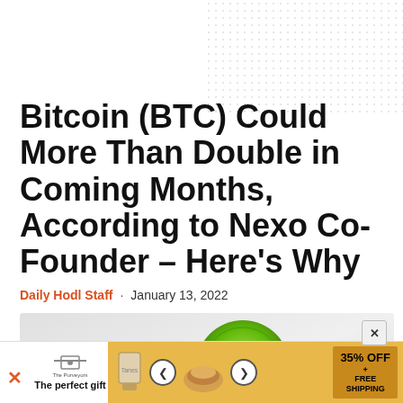Bitcoin (BTC) Could More Than Double in Coming Months, According to Nexo Co-Founder – Here's Why
Daily Hodl Staff  ·  January 13, 2022
[Figure (photo): Article header image showing a green Bitcoin coin token and a small white robot or figure on a light gray background]
[Figure (infographic): Advertisement banner at bottom: 'The perfect gift' with food images, navigation arrows, and '35% OFF + FREE SHIPPING' offer on golden background]